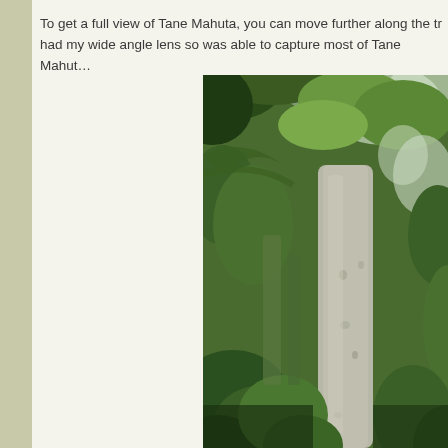To get a full view of Tane Mahuta, you can move further along the tr... had my wide angle lens so was able to capture most of Tane Mahut...
[Figure (photo): A large kauri tree (Tane Mahuta) photographed in a lush New Zealand forest, showing the massive pale grey trunk surrounded by dense green ferns, palms, and forest canopy.]